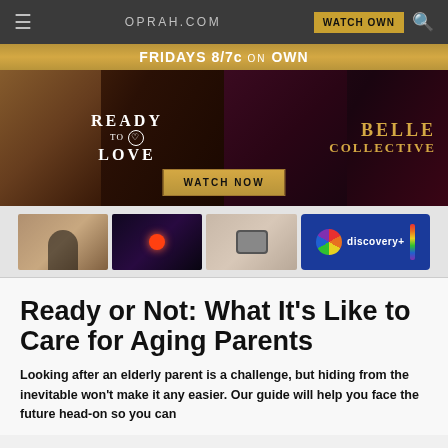≡   OPRAH.COM   WATCH OWN  🔍
[Figure (advertisement): Gold banner: FRIDAYS 8/7c ON OWN. Show banner with 'Ready to Love' on left and 'Belle Collective' on right, with WATCH NOW button.]
[Figure (advertisement): Discovery+ streaming service advertisement banner with three show thumbnails and Discovery+ logo.]
Ready or Not: What It's Like to Care for Aging Parents
Looking after an elderly parent is a challenge, but hiding from the inevitable won't make it any easier. Our guide will help you face the future head-on so you can